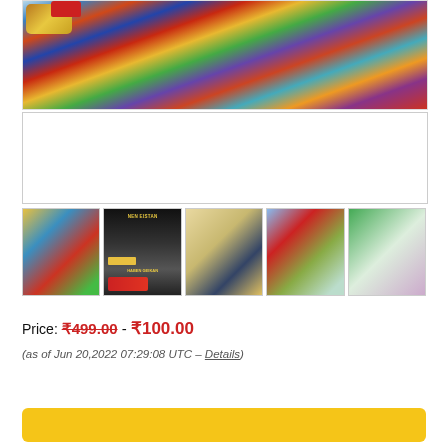[Figure (photo): Close-up of colorful mosaic or diamond painting artwork with tools including a red nozzle and brass fitting]
[Figure (photo): White empty box placeholder]
[Figure (photo): Row of 5 product thumbnail images showing hose spray nozzle usage: diamond painting, multi-nozzle set, cleaning with gloves, car washing, and garden watering]
Price: ₹499.00 - ₹100.00
(as of Jun 20,2022 07:29:08 UTC – Details)
[Figure (other): Yellow buy button at bottom of page]